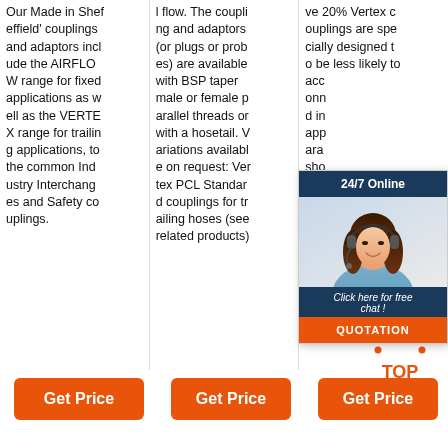Our Made in Sheffield' couplings and adaptors include the AIRFLOW range for fixed applications as well as the VERTEX range for trailing applications, to the common Industry Interchanges and Safety couplings.
flow. The coupling and adaptors (or plugs or probes) are available with BSP taper male or female parallel threads or with a hosetail. Variations available on request: Vertex PCL Standard couplings for trailing hoses (see related products)
ve 20% Vertex couplings are specially designed to be less likely to accidentally disconnect in applications around shorts. Vertex C specifically designed for TRAILING H
[Figure (infographic): 24/7 online chat widget with agent photo, 'Click here for free chat!' text, and QUOTATION button]
[Figure (other): TOP icon with orange dotted arrow pointing up and TOP text]
Get Price
Get Price
Get Price